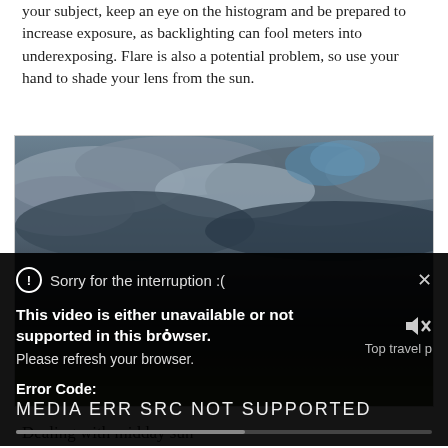your subject, keep an eye on the histogram and be prepared to increase exposure, as backlighting can fool meters into underexposing. Flare is also a potential problem, so use your hand to shade your lens from the sun.
[Figure (screenshot): A sky photo with dark storm clouds and a blue patch, overlaid by a video player error dialog on a black background. The error dialog reads: 'Sorry for the interruption :(' with a close X, then bold text 'This video is either unavailable or not supported in this browser.' followed by 'Please refresh your browser.' and 'Error Code: MEDIA ERR SRC NOT SUPPORTED'. A speaker mute icon and 'Top travel p' text appear to the right. A progress bar is partially filled at the bottom of the overlay.]
Dealing with midday sun